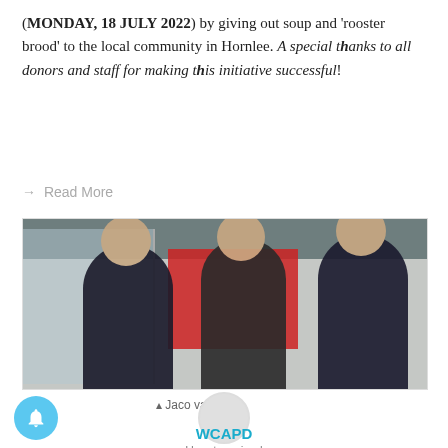(MONDAY, 18 JULY 2022) by giving out soup and 'rooster brood' to the local community in Hornlee. A special thanks to all donors and staff for making this initiative successful!
→ Read More
[Figure (photo): Three people standing inside what appears to be a car dealership or showroom. A red panel/banner is visible in the background. The person on the left wears a dark cap and dark shirt, the person in the middle wears a striped top with a dark apron, and the person on the right wears a dark jacket and glasses.]
Jaco van Dyk
WCAPD
Uncategorized